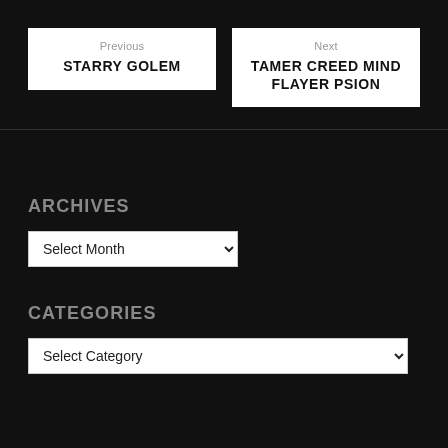Previous
STARRY GOLEM
Next
TAMER CREED MIND FLAYER PSION
ARCHIVES
Select Month
CATEGORIES
Select Category